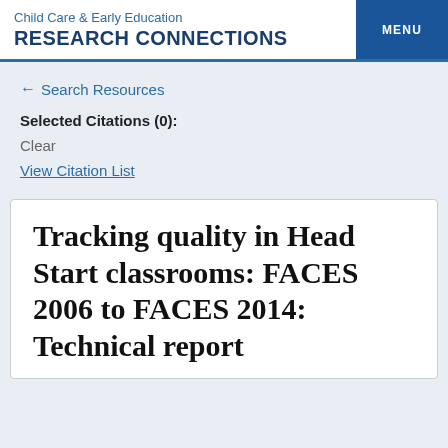Child Care & Early Education RESEARCH CONNECTIONS
← Search Resources
Selected Citations (0):
Clear
View Citation List
Tracking quality in Head Start classrooms: FACES 2006 to FACES 2014: Technical report